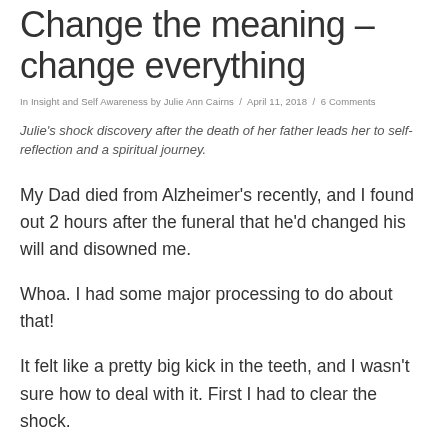Change the meaning – change everything
In Insight and Self Awareness by Julie Ann Cairns / April 11, 2018 / 6 Comments
Julie's shock discovery after the death of her father leads her to self-reflection and a spiritual journey.
My Dad died from Alzheimer's recently, and I found out 2 hours after the funeral that he'd changed his will and disowned me.
Whoa. I had some major processing to do about that!
It felt like a pretty big kick in the teeth, and I wasn't sure how to deal with it. First I had to clear the shock.